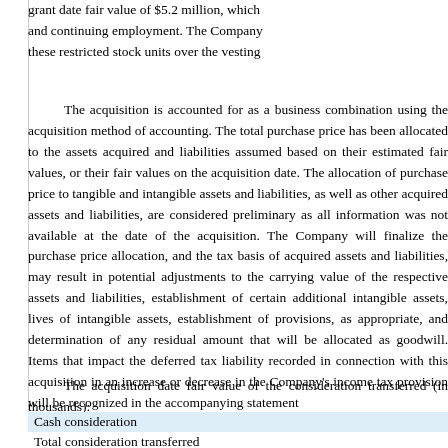grant date fair value of $5.2 million, which and continuing employment. The Company these restricted stock units over the vesting
The acquisition is accounted for as a business combination using the acquisition method of accounting. The total purchase price has been allocated to the assets acquired and liabilities assumed based on their estimated fair values, or their fair values on the acquisition date. The allocation of purchase price to tangible and intangible assets and liabilities, as well as other acquired assets and liabilities, are considered preliminary as all information was not available at the date of the acquisition. The Company will finalize the purchase price allocation, and the tax basis of acquired assets and liabilities, may result in potential adjustments to the carrying value of the respective assets and liabilities, establishment of certain additional intangible assets, lives of intangible assets, establishment of provisions, as appropriate, and determination of any residual amount that will be allocated as goodwill. Items that impact the deferred tax liability recorded in connection with this acquisition in an increase or decrease in the Company's income tax provision will be recognized in the accompanying statement
The acquisition date fair value of the consideration transferred (in thousands):
| Cash consideration |  |
| Total consideration transferred |  |